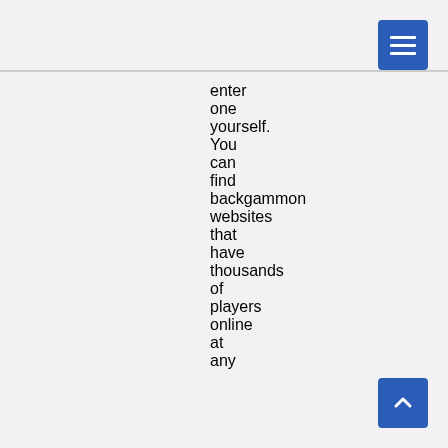[Figure (other): Blue hamburger menu button in top-right corner]
enter one yourself. You can find backgammon websites that have thousands of players online at any
[Figure (other): Blue scroll-to-top arrow button in bottom-right corner]